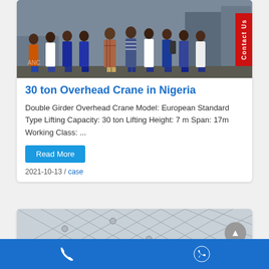[Figure (photo): Group photo of approximately 10-12 men standing together inside an industrial facility/warehouse, some wearing orange, white, blue shirts and jeans]
30 ton Overhead Crane in Nigeria
Double Girder Overhead Crane Model: European Standard Type Lifting Capacity: 30 ton Lifting Height: 7 m Span: 17m Working Class: ...
Read More
2021-10-13 / case
[Figure (photo): Photo of structural ceiling or overhead framework of a building, showing metal beams and lattice structure in grey/white tones]